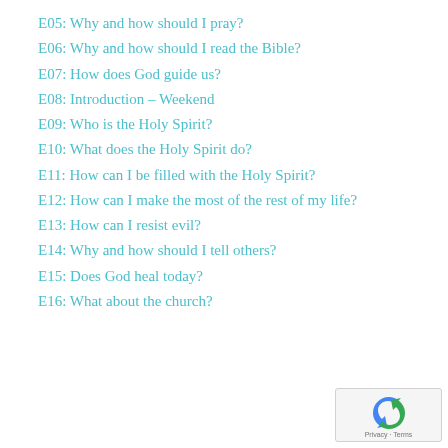E05: Why and how should I pray?
E06: Why and how should I read the Bible?
E07: How does God guide us?
E08: Introduction – Weekend
E09: Who is the Holy Spirit?
E10: What does the Holy Spirit do?
E11: How can I be filled with the Holy Spirit?
E12: How can I make the most of the rest of my life?
E13: How can I resist evil?
E14: Why and how should I tell others?
E15: Does God heal today?
E16: What about the church?